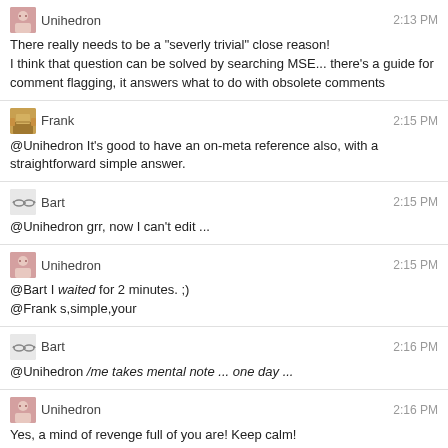Unihedron 2:13 PM
There really needs to be a "severly trivial" close reason!
I think that question can be solved by searching MSE... there's a guide for comment flagging, it answers what to do with obsolete comments
Frank 2:15 PM
@Unihedron It's good to have an on-meta reference also, with a straightforward simple answer.
Bart 2:15 PM
@Unihedron grr, now I can't edit ...
Unihedron 2:15 PM
@Bart I waited for 2 minutes. ;)
@Frank s,simple,your
Bart 2:16 PM
@Unihedron /me takes mental note ... one day ...
Unihedron 2:16 PM
Yes, a mind of revenge full of you are! Keep calm!
And uh, may the force be with you. I gotta do something. I might be back later.
Frank 2:19 PM
@Unihedron cya